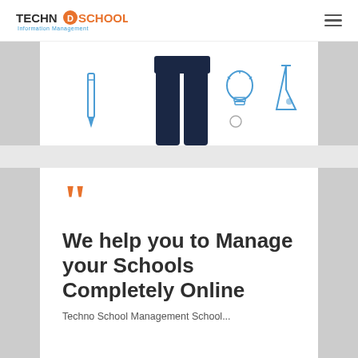TECHNO SCHOOL - Education Management
[Figure (illustration): Partial view of educational illustration showing a figure in dark pants with educational icons (pencil, lightbulb, laboratory equipment) on a white card background]
““
We help you to Manage your Schools Completely Online
Techno School Management School...